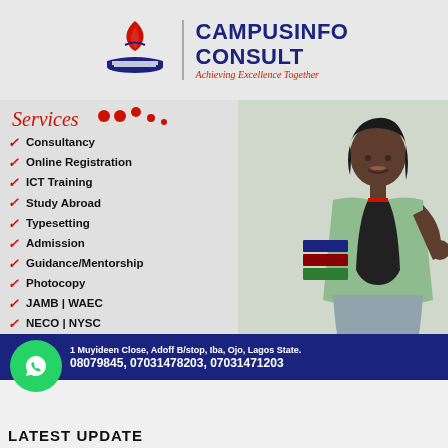[Figure (logo): CampusInfo Consult logo with red and blue book/graduation cap icon, company name in dark blue bold text, tagline 'Achieving Excellence Together' in red italic]
Consultancy
Online Registration
ICT Training
Study Abroad
Typesetting
Admission
Guidance/Mentorship
Photocopy
JAMB | WAEC
NECO | NYSC
1 Muyideen Close, Adoff B/stop, Iba, Ojo, Lagos State. 08079845, 07031478203, 07031471203
LATEST UPDATE